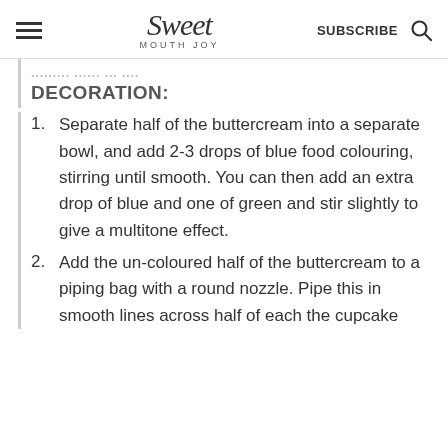Sweet Mouth Joy — SUBSCRIBE
DECORATION:
Separate half of the buttercream into a separate bowl, and add 2-3 drops of blue food colouring, stirring until smooth. You can then add an extra drop of blue and one of green and stir slightly to give a multitone effect.
Add the un-coloured half of the buttercream to a piping bag with a round nozzle. Pipe this in smooth lines across half of each the cupcake